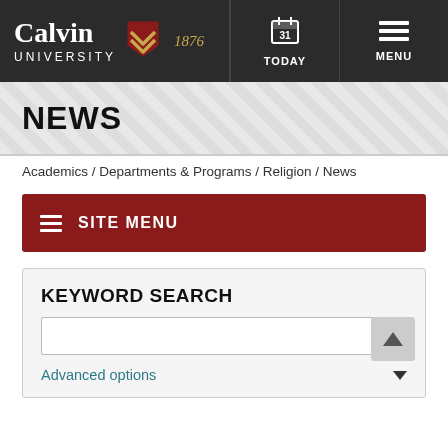Calvin University 1876 — TODAY | MENU
NEWS
Academics / Departments & Programs / Religion / News
SITE MENU
KEYWORD SEARCH
Advanced options